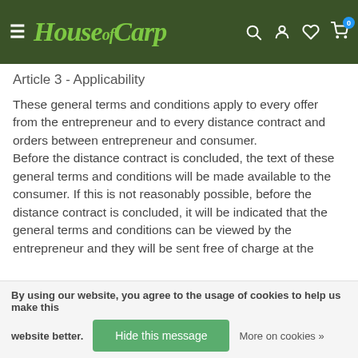House of Carp
Article 3 - Applicability
These general terms and conditions apply to every offer from the entrepreneur and to every distance contract and orders between entrepreneur and consumer. Before the distance contract is concluded, the text of these general terms and conditions will be made available to the consumer. If this is not reasonably possible, before the distance contract is concluded, it will be indicated that the general terms and conditions can be viewed by the entrepreneur and they will be sent free of charge at the
By using our website, you agree to the usage of cookies to help us make this website better.
Hide this message
More on cookies »